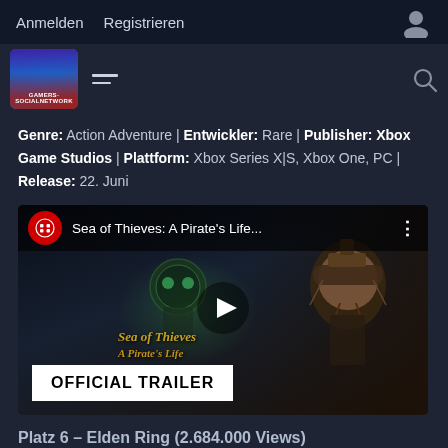Anmelden   Registrieren
[Figure (logo): Gamers Socialnetwork logo with hamburger menu and search icon navigation bar]
Genre: Action Adventure | Entwickler: Rare | Publisher: Xbox Game Studios | Plattform: Xbox Series X|S, Xbox One, PC | Release: 22. Juni
[Figure (screenshot): YouTube video thumbnail for Sea of Thieves: A Pirate's Life Official Trailer showing animated skeleton and Jack Sparrow character with play button overlay]
Platz 6 – Elden Ring (2.684.000 Views)